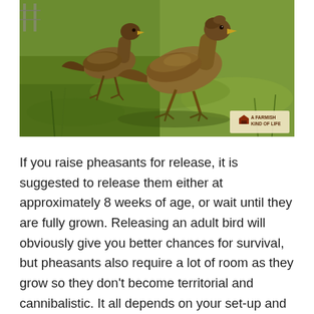[Figure (photo): Two young pheasant chicks/juveniles standing on green grass in an outdoor setting. A watermark in the bottom right reads 'A FARMISH KIND OF LIFE'.]
If you raise pheasants for release, it is suggested to release them either at approximately 8 weeks of age, or wait until they are fully grown. Releasing an adult bird will obviously give you better chances for survival, but pheasants also require a lot of room as they grow so they don't become territorial and cannibalistic. It all depends on your set-up and what works for you.